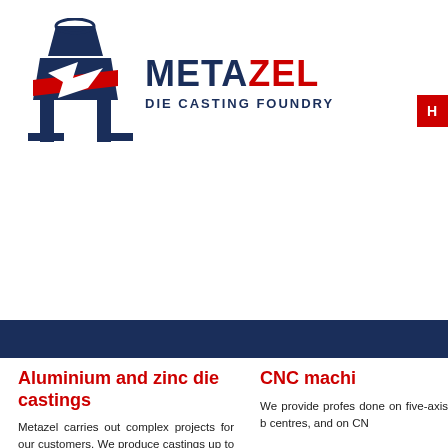[Figure (logo): Metazel Die Casting Foundry logo with stylized casting machine icon in navy blue and red, company name METAZEL in navy and red, subtitle DIE CASTING FOUNDRY in navy blue]
Aluminium and zinc die castings
Metazel carries out complex projects for our customers. We produce castings up to 7.5 kg
CNC machi
We provide profes done on five-axis b centres, and on CN